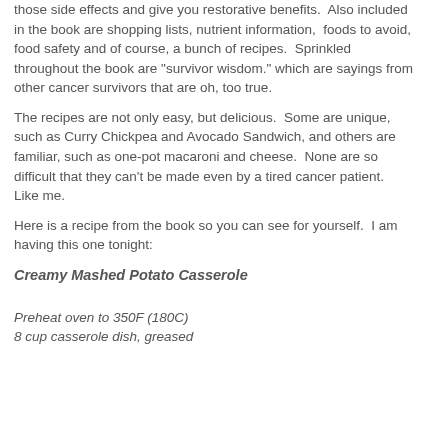those side effects and give you restorative benefits.  Also included in the book are shopping lists, nutrient information,  foods to avoid, food safety and of course, a bunch of recipes.  Sprinkled throughout the book are "survivor wisdom." which are sayings from other cancer survivors that are oh, too true.
The recipes are not only easy, but delicious.  Some are unique, such as Curry Chickpea and Avocado Sandwich, and others are familiar, such as one-pot macaroni and cheese.  None are so difficult that they can't be made even by a tired cancer patient.  Like me.
Here is a recipe from the book so you can see for yourself.  I am having this one tonight:
Creamy Mashed Potato Casserole
Preheat oven to 350F (180C)
8 cup casserole dish, greased